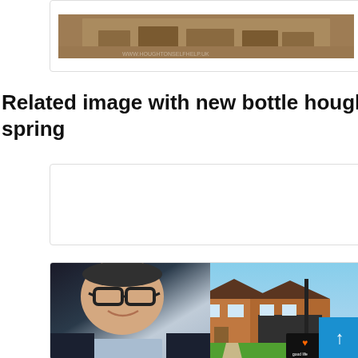[Figure (photo): Sepia/vintage photograph of a street scene, partially visible at the top of the page inside a white card]
Related image with new bottle houghton le spring
[Figure (other): Empty white card placeholder]
[Figure (photo): Man with glasses wearing a dark blazer and light blue shirt smiling, with a brick detached house visible in the background, overlaid with a 'good life' logo badge in the bottom right corner]